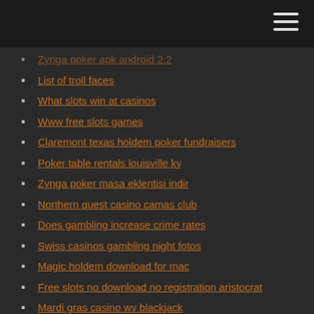Zynga poker apk android 2.2
List of troll faces
What slots win at casinos
Www free slots games
Claremont texas holdem poker fundraisers
Poker table rentals louisville ky
Zynga poker masa eklentisi indir
Northern quest casino camas club
Does gambling increase crime rates
Swiss casinos gambling night fotos
Magic holdem download for mac
Free slots no download no registration aristocrat
Mardi gras casino wv blackjack
Close my 888 casino account